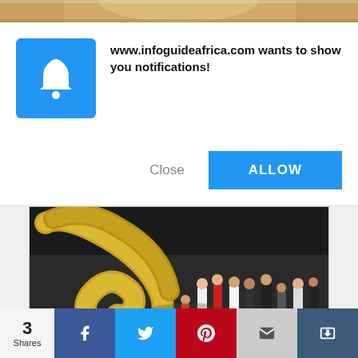[Figure (screenshot): Top strip showing a partial image of a person with blonde hair]
www.infoguideafrica.com wants to show you notifications!
Close
ALLOW
[Figure (photo): Aerial view of large golden snake sculpture in a mall/museum with people gathered around it and green plants]
Imagine If These Mind-Boggling Animals Roamed The Planet Today
3
Shares